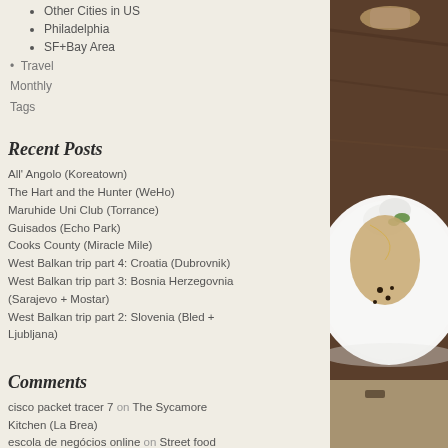Other Cities in US
Philadelphia
SF+Bay Area
Travel
Monthly
Tags
Recent Posts
All' Angolo (Koreatown)
The Hart and the Hunter (WeHo)
Maruhide Uni Club (Torrance)
Guisados (Echo Park)
Cooks County (Miracle Mile)
West Balkan trip part 4: Croatia (Dubrovnik)
West Balkan trip part 3: Bosnia Herzegovnia (Sarajevo + Mostar)
West Balkan trip part 2: Slovenia (Bled + Ljubljana)
Comments
cisco packet tracer 7 on The Sycamore Kitchen (La Brea)
escola de negócios online on Street food
[Figure (photo): Food photo showing a white plate with a gourmet dish featuring cream, greens, and dark sauce drops on a wooden table background]